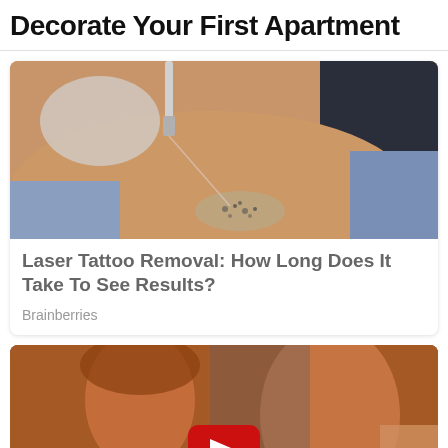Decorate Your First Apartment
[Figure (photo): Close-up photo of laser tattoo removal procedure on skin, with a gloved hand holding a laser device over a tattoo on someone's back/shoulder area.]
Laser Tattoo Removal: How Long Does It Take To See Results?
Brainberries
[Figure (screenshot): Video thumbnail showing two women in a warm-toned scene, with a red YouTube-style play button overlay and a CLOSE button at the bottom.]